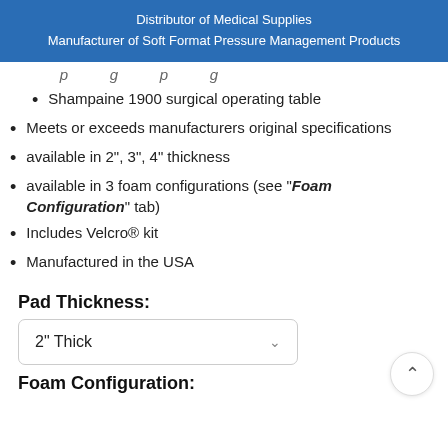Distributor of Medical Supplies
Manufacturer of Soft Format Pressure Management Products
Shampaine 1900 surgical operating table
Meets or exceeds manufacturers original specifications
available in 2", 3", 4" thickness
available in 3 foam configurations (see "Foam Configuration" tab)
Includes Velcro® kit
Manufactured in the USA
Pad Thickness:
2" Thick
Foam Configuration: